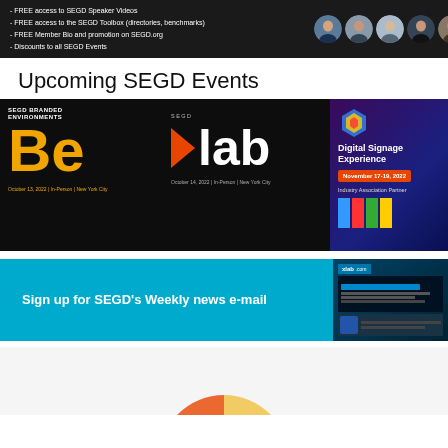[Figure (photo): Dark banner showing SEGD member benefits bullet points on left and member portrait photos on right]
Upcoming SEGD Events
[Figure (infographic): SEGD events promotional banner on black background. Left: SEGD Branded Environments 'Be' logo in yellow, October 13, 2022 | In-Person | New York City. Center: SEGD xlab logo with orange arrow, October 14, 2022 | In-Person | New York City. Right: Digital Signage Experience, November 17-19, 2022, Industry Association Partner with SEGD colored blocks.]
[Figure (infographic): Cyan/blue banner: 'Sign up for SEGD's Weekly news e-mail' with xlab magazine image on right]
[Figure (other): Partial bottom section with light gray background and partial pie/donut chart visible at very bottom]